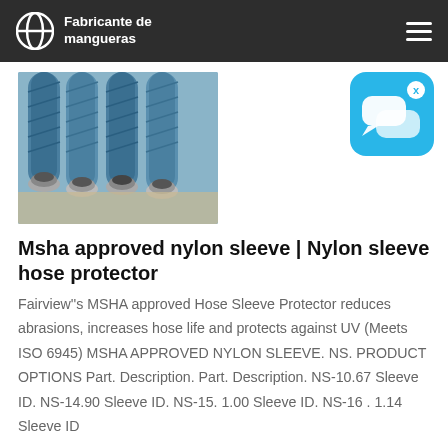Fabricante de mangueras
[Figure (photo): Blue industrial hoses with metal fittings/couplings arranged side by side]
[Figure (other): Chat/messaging app widget icon with speech bubble in blue]
Msha approved nylon sleeve | Nylon sleeve hose protector
Fairview''s MSHA approved Hose Sleeve Protector reduces abrasions, increases hose life and protects against UV (Meets ISO 6945) MSHA APPROVED NYLON SLEEVE. NS. PRODUCT OPTIONS Part. Description. Part. Description. NS-10.67 Sleeve ID. NS-14.90 Sleeve ID. NS-15. 1.00 Sleeve ID. NS-16 . 1.14 Sleeve ID